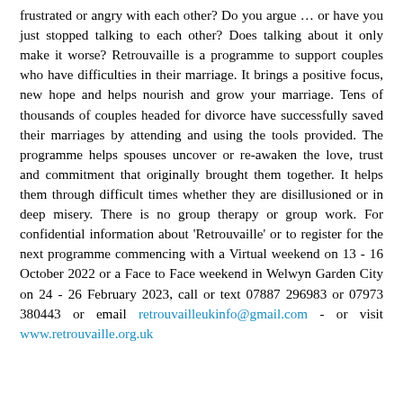frustrated or angry with each other? Do you argue … or have you just stopped talking to each other? Does talking about it only make it worse? Retrouvaille is a programme to support couples who have difficulties in their marriage. It brings a positive focus, new hope and helps nourish and grow your marriage. Tens of thousands of couples headed for divorce have successfully saved their marriages by attending and using the tools provided. The programme helps spouses uncover or re-awaken the love, trust and commitment that originally brought them together. It helps them through difficult times whether they are disillusioned or in deep misery. There is no group therapy or group work. For confidential information about 'Retrouvaille' or to register for the next programme commencing with a Virtual weekend on 13 - 16 October 2022 or a Face to Face weekend in Welwyn Garden City on 24 - 26 February 2023, call or text 07887 296983 or 07973 380443 or email retrouvailleukinfo@gmail.com - or visit www.retrouvaille.org.uk